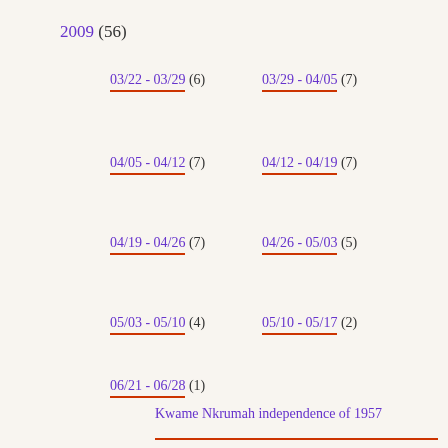2009 (56)
03/22 - 03/29 (6)
03/29 - 04/05 (7)
04/05 - 04/12 (7)
04/12 - 04/19 (7)
04/19 - 04/26 (7)
04/26 - 05/03 (5)
05/03 - 05/10 (4)
05/10 - 05/17 (2)
06/21 - 06/28 (1)
Kwame Nkrumah independence of 1957